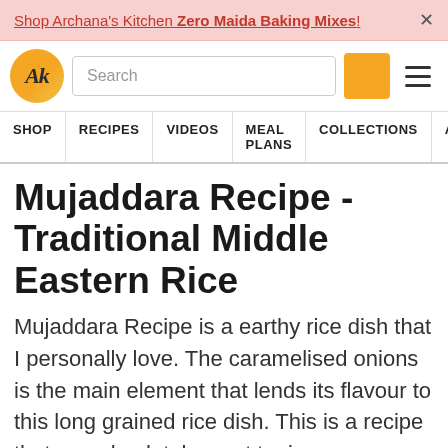Shop Archana's Kitchen Zero Maida Baking Mixes! ×
[Figure (logo): Archana's Kitchen logo: orange circle with AK text, search bar, orange search button, hamburger menu]
SHOP | RECIPES | VIDEOS | MEAL PLANS | COLLECTIONS | ART
Mujaddara Recipe - Traditional Middle Eastern Rice
Mujaddara Recipe is a earthy rice dish that I personally love. The caramelised onions is the main element that lends its flavour to this long grained rice dish. This is a recipe that you absolutely must try in your